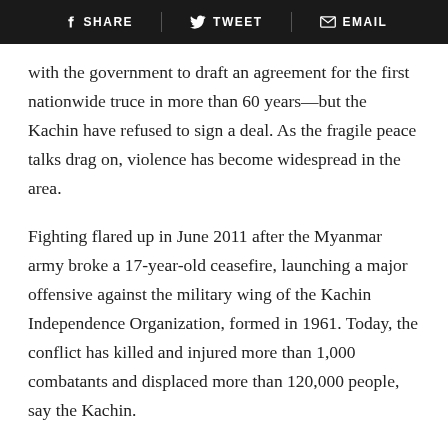SHARE   TWEET   EMAIL
with the government to draft an agreement for the first nationwide truce in more than 60 years—but the Kachin have refused to sign a deal. As the fragile peace talks drag on, violence has become widespread in the area.
Fighting flared up in June 2011 after the Myanmar army broke a 17-year-old ceasefire, launching a major offensive against the military wing of the Kachin Independence Organization, formed in 1961. Today, the conflict has killed and injured more than 1,000 combatants and displaced more than 120,000 people, say the Kachin.
I was smuggled through China into the rebel-controlled areas of Kachin State along the border by the rebel army and a corrupt Chinese policeman who had me hide at a checkpoint. With attacks happening daily, the Kachin have been pushed